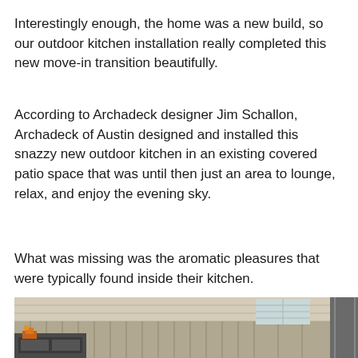Interestingly enough, the home was a new build, so our outdoor kitchen installation really completed this new move-in transition beautifully.
According to Archadeck designer Jim Schallon, Archadeck of Austin designed and installed this snazzy new outdoor kitchen in an existing covered patio space that was until then just an area to lounge, relax, and enjoy the evening sky.
What was missing was the aromatic pleasures that were typically found inside their kitchen.
[Figure (photo): Outdoor patio area with wooden fence/siding, a grill or outdoor kitchen equipment visible in the lower left, and a structural post on the right side. The background shows light-colored horizontal siding with a window visible through gaps.]